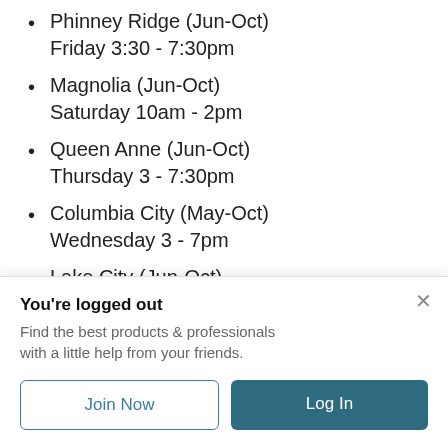Phinney Ridge (Jun-Oct)
Friday 3:30 - 7:30pm
Magnolia (Jun-Oct)
Saturday 10am - 2pm
Queen Anne (Jun-Oct)
Thursday 3 - 7:30pm
Columbia City (May-Oct)
Wednesday 3 - 7pm
Lake City (Jun-Oct)
Thursday 3 - 7pm
Grocers
Metropolitan Market in Sand Point
You're logged out
Find the best products & professionals with a little help from your friends.
Join Now
Log In